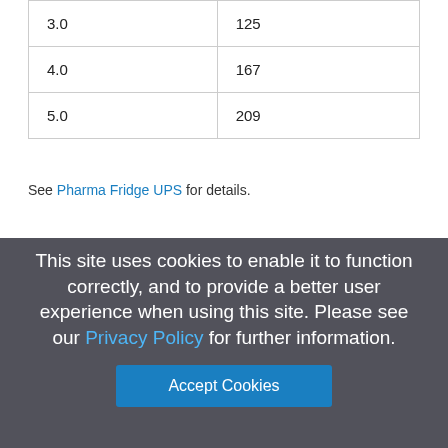| 3.0 | 125 |
| 4.0 | 167 |
| 5.0 | 209 |
See Pharma Fridge UPS for details.
This site uses cookies to enable it to function correctly, and to provide a better user experience when using this site. Please see our Privacy Policy for further information.
Accept Cookies
Categories
Battery and UPS Systems
Mid Range UPS Systems
Professional UPS Systems
Industrial UPS Systems